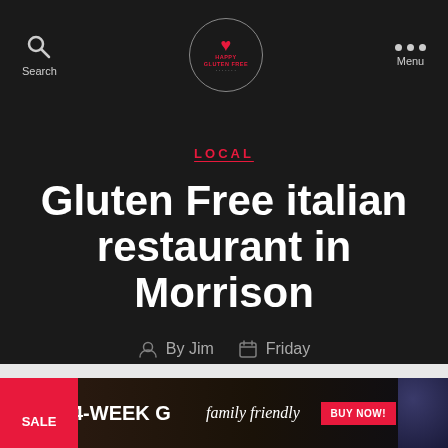Search | HAPPY GLUTEN FREE | Menu
LOCAL
Gluten Free italian restaurant in Morrison
By Jim  Friday
[Figure (infographic): Advertisement banner showing SALE badge, 4-WEEK G text, family friendly script text, BUY NOW button, and food imagery on sides]